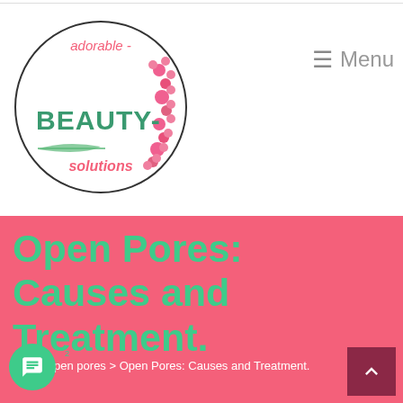[Figure (logo): Adorable Beauty Solutions circular logo with pink flowers and green text]
☰ Menu
Open Pores: Causes and Treatment.
🏠 > open pores > Open Pores: Causes and Treatment.